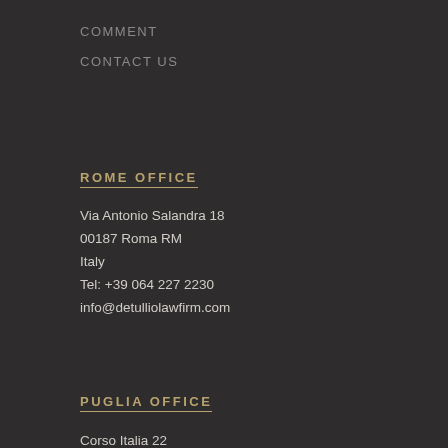COMMENT
CONTACT US
ROME OFFICE
Via Antonio Salandra 18
00187 Roma RM
Italy
Tel: +39 064 227 2230
info@detulliolawfirm.com
PUGLIA OFFICE
Corso Italia 22